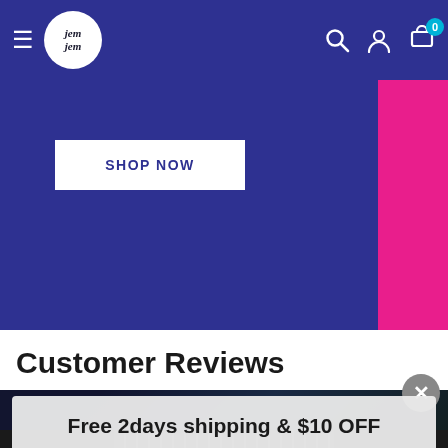jem jem — navigation bar with hamburger menu, logo, search, account, and cart (0 items)
[Figure (screenshot): Blue promotional banner with SHOP NOW button on left, pink banner on right]
Customer Reviews
[Figure (screenshot): Popup overlay showing 'Free 2days shipping & $10 OFF' with ACTIVATE DISCOUNT button and close X button, over a dark background with laptop image]
Free 2days shipping & $10 OFF
ACTIVATE DISCOUNT